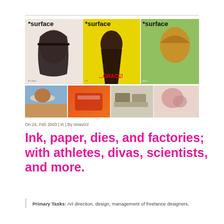[Figure (photo): A collage of *surface magazine covers (three large covers showing fashion models) and four smaller thumbnail images of products and people.]
On 24, Feb 2003 | In | By ninavizz
Ink, paper, dies, and factories; with athletes, divas, scientists, and more.
Primary Tasks: Art direction, design, management of freelance designers,